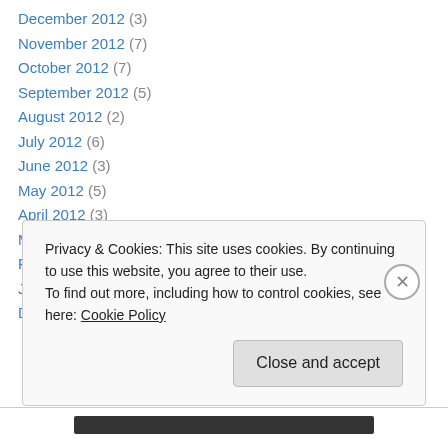December 2012 (3)
November 2012 (7)
October 2012 (7)
September 2012 (5)
August 2012 (2)
July 2012 (6)
June 2012 (3)
May 2012 (5)
April 2012 (3)
March 2012 (4)
February 2012 (7)
January 2012 (5)
December 2011 (3)
Privacy & Cookies: This site uses cookies. By continuing to use this website, you agree to their use. To find out more, including how to control cookies, see here: Cookie Policy
Close and accept